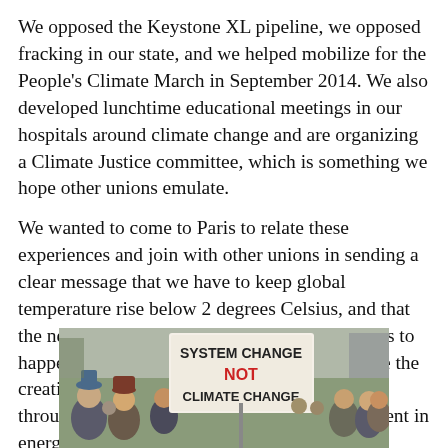We opposed the Keystone XL pipeline, we opposed fracking in our state, and we helped mobilize for the People's Climate March in September 2014. We also developed lunchtime educational meetings in our hospitals around climate change and are organizing a Climate Justice committee, which is something we hope other unions emulate.
We wanted to come to Paris to relate these experiences and join with other unions in sending a clear message that we have to keep global temperature rise below 2 degrees Celsius, and that the necessary transition to renewable energy has to happen on a world-historic scale, has to involve the creation of good, union jobs, and has to happen through a massive expansion of public investment in energy, infrastructure and transportation.
[Figure (photo): Protesters at a climate march holding a sign that reads 'SYSTEM CHANGE NOT CLIMATE CHANGE' in red and black letters, crowd of people visible in background.]